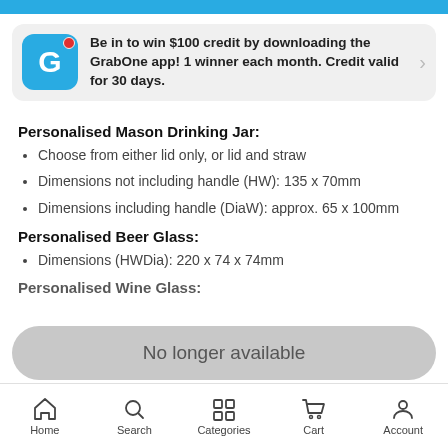[Figure (infographic): GrabOne app promotional banner with blue G icon, notification dot, and text about winning $100 credit]
Personalised Mason Drinking Jar:
Choose from either lid only, or lid and straw
Dimensions not including handle (HW): 135 x 70mm
Dimensions including handle (DiaW): approx. 65 x 100mm
Personalised Beer Glass:
Dimensions (HWDia): 220 x 74 x 74mm
Personalised Wine Glass:
No longer available
Home  Search  Categories  Cart  Account